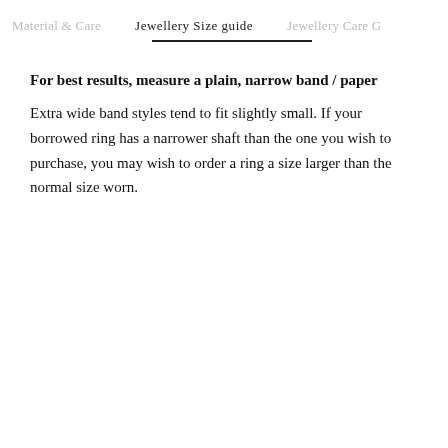Material & Care   Jewellery Size guide   Jewellery Care G
For best results, measure a plain, narrow band / paper
Extra wide band styles tend to fit slightly small. If your borrowed ring has a narrower shaft than the one you wish to purchase, you may wish to order a ring a size larger than the normal size worn.